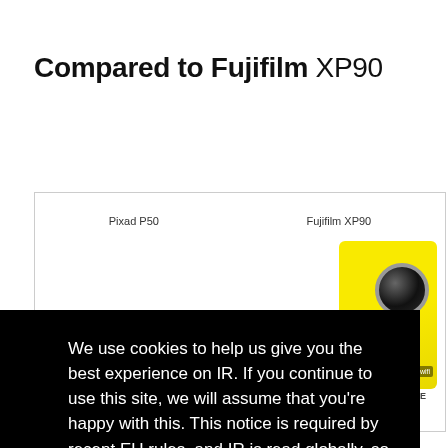Compared to Fujifilm XP90
[Figure (screenshot): Partial comparison view showing 'Pixad P50' and 'Fujifilm XP90' labels at top, with a yellow Fujifilm XP90 camera image on the right side, and labels 'LENS REACH' and 'STABILIZATION' / 'GE' at the bottom]
We use cookies to help us give you the best experience on IR. If you continue to use this site, we will assume that you're happy with this. This notice is required by recent EU rules, and IR is read globally, so we need to keep the bureaucrats off our case!
Learn more
Got it!